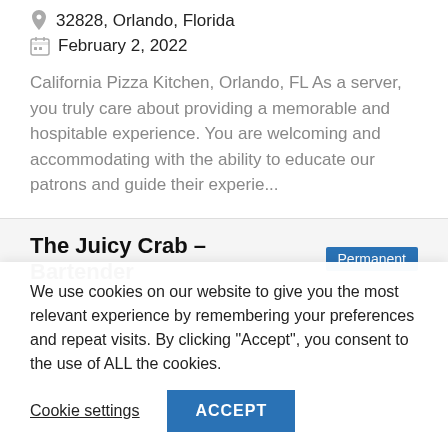32828, Orlando, Florida
February 2, 2022
California Pizza Kitchen, Orlando, FL As a server, you truly care about providing a memorable and hospitable experience. You are welcoming and accommodating with the ability to educate our patrons and guide their experie...
The Juicy Crab – Bartender
We use cookies on our website to give you the most relevant experience by remembering your preferences and repeat visits. By clicking "Accept", you consent to the use of ALL the cookies.
Cookie settings
ACCEPT